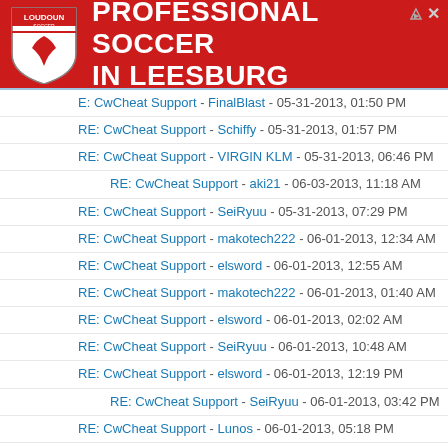[Figure (illustration): Loudoun Soccer advertisement banner with red background, shield logo, and text 'PROFESSIONAL SOCCER IN LEESBURG']
E: CwCheat Support - FinalBlast - 05-31-2013, 01:50 PM
RE: CwCheat Support - Schiffy - 05-31-2013, 01:57 PM
RE: CwCheat Support - VIRGIN KLM - 05-31-2013, 06:46 PM
RE: CwCheat Support - aki21 - 06-03-2013, 11:18 AM
RE: CwCheat Support - SeiRyuu - 05-31-2013, 07:29 PM
RE: CwCheat Support - makotech222 - 06-01-2013, 12:34 AM
RE: CwCheat Support - elsword - 06-01-2013, 12:55 AM
RE: CwCheat Support - makotech222 - 06-01-2013, 01:40 AM
RE: CwCheat Support - elsword - 06-01-2013, 02:02 AM
RE: CwCheat Support - SeiRyuu - 06-01-2013, 10:48 AM
RE: CwCheat Support - elsword - 06-01-2013, 12:19 PM
RE: CwCheat Support - SeiRyuu - 06-01-2013, 03:42 PM
RE: CwCheat Support - Lunos - 06-01-2013, 05:18 PM
RE: CwCheat Support - xd9999 - 06-03-2013, 06:21 AM
RE: CwCheat Support - elsword - 06-03-2013, 08:10 AM
RE: CwCheat Support - makotech222 - 06-03-2013, 10:32 AM
RE: CwCheat Support - lampuiho - 06-03-2013, 12:07 PM
RE: CwCheat Support - makotech222 - 06-03-2013, 05:57 PM
RE: CwCheat Support - VIRGIN KLM - 06-04-2013, 07:35 AM
RE: CwCheat Support - hbk1231 - 06-04-2013, 11:21 AM
RE: CwCheat Support - Its Me!! - 06-04-2013, 04:19 PM